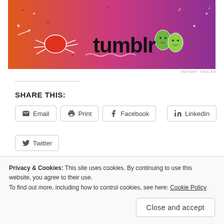[Figure (illustration): Tumblr advertisement banner with colorful orange-to-purple gradient background featuring the word 'tumblr' in large bold black text, cartoon illustrations of a crab, green leaf characters, doodles of hearts, music notes, arrows, and wavy lines]
REPORT THIS AD
SHARE THIS:
Email
Print
Facebook
LinkedIn
Twitter
Privacy & Cookies: This site uses cookies. By continuing to use this website, you agree to their use.
To find out more, including how to control cookies, see here: Cookie Policy
Close and accept